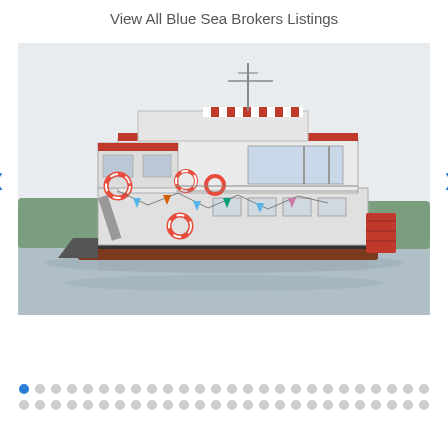View All Blue Sea Brokers Listings
[Figure (photo): A large white river ferry/cruise boat on water, with red trim, red-and-white striped canopy on upper deck, multiple lifesavers visible, bunting decoration, and a paddle wheel on the right side. Navigation antenna visible at top.]
Navigation dots indicating multiple listing images, first dot highlighted in blue.